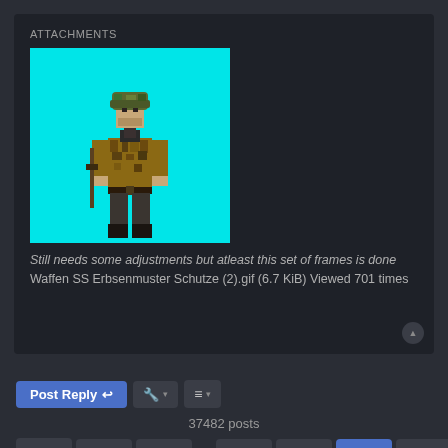ATTACHMENTS
[Figure (illustration): Pixel art of a WWII Waffen SS soldier in Erbsenmuster camouflage uniform on a cyan background, shown in a walking animation frame.]
Still needs some adjustments but atleast this set of frames is done
Waffen SS Erbsenmuster Schutze (2).gif (6.7 KiB) Viewed 701 times
Post Reply
37482 posts
1 ... 2421 2422 2423 2424 2425 ... 2499
Jump to